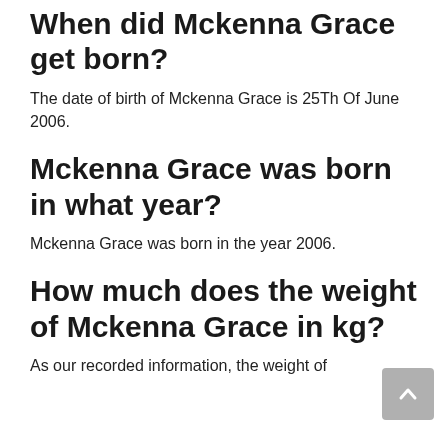When did Mckenna Grace get born?
The date of birth of Mckenna Grace is 25Th Of June 2006.
Mckenna Grace was born in what year?
Mckenna Grace was born in the year 2006.
How much does the weight of Mckenna Grace in kg?
As our recorded information, the weight of